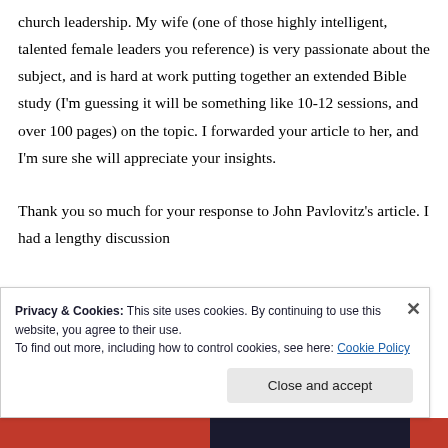church leadership. My wife (one of those highly intelligent, talented female leaders you reference) is very passionate about the subject, and is hard at work putting together an extended Bible study (I'm guessing it will be something like 10-12 sessions, and over 100 pages) on the topic. I forwarded your article to her, and I'm sure she will appreciate your insights.
Thank you so much for your response to John Pavlovitz's article. I had a lengthy discussion
Privacy & Cookies: This site uses cookies. By continuing to use this website, you agree to their use.
To find out more, including how to control cookies, see here: Cookie Policy